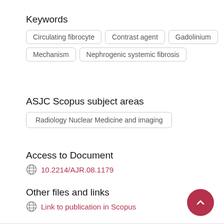Keywords
Circulating fibrocyte
Contrast agent
Gadolinium
Mechanism
Nephrogenic systemic fibrosis
ASJC Scopus subject areas
Radiology Nuclear Medicine and imaging
Access to Document
10.2214/AJR.08.1179
Other files and links
Link to publication in Scopus